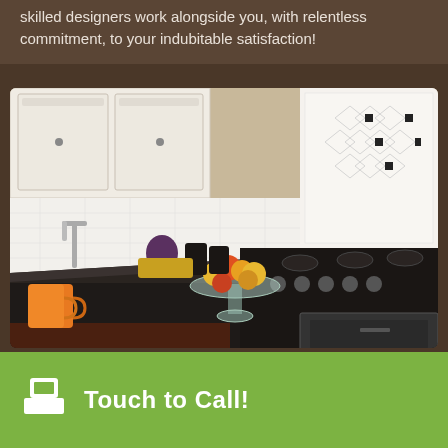skilled designers work alongside you, with relentless commitment, to your indubitable satisfaction!
[Figure (photo): Kitchen countertop with dark granite surface, orange mugs, a glass bowl of fruit, black canister set, stainless steel gas range, and white tile backsplash with decorative black diamond accents. White cabinets visible above.]
Countertop Installation & Replacement
Touch to Call!